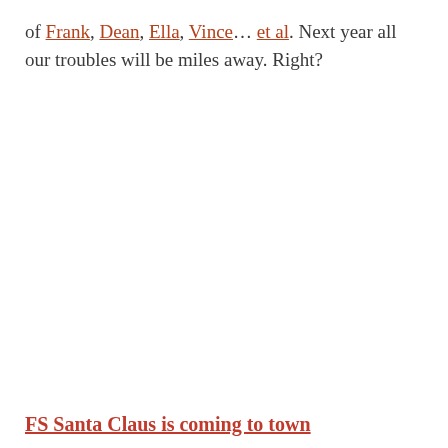of Frank, Dean, Ella, Vince… et al. Next year all our troubles will be miles away. Right?
FS Santa Claus is coming to town